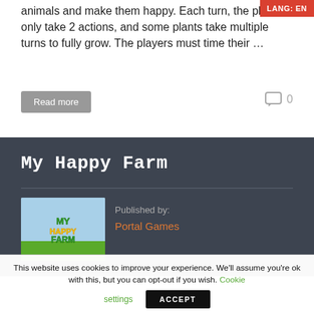animals and make them happy. Each turn, the players only take 2 actions, and some plants take multiple turns to fully grow. The players must time their …
Read more
0
My Happy Farm
[Figure (illustration): My Happy Farm board game box art with colorful text logo on light blue background]
Published by:
Portal Games
This website uses cookies to improve your experience. We'll assume you're ok with this, but you can opt-out if you wish. Cookie settings
ACCEPT